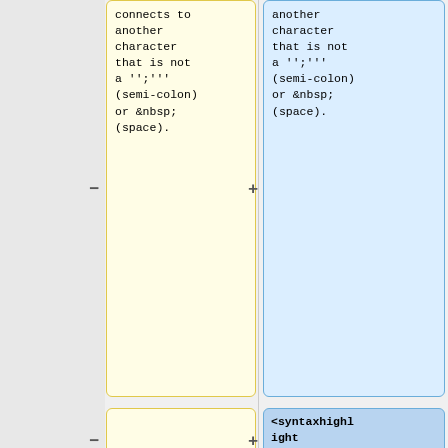[Figure (other): Diff view showing two columns of code changes. Left column (removed, yellow background) and right column (added, blue background). Content includes: top row shows text about connecting to another character that is not a '';''' (semi-colon) or &nbsp; (space). Second row shows minus/plus signs with empty left block and right block containing '<syntaxhighlight lang="cpp">'. Third row shows 'class NAME##_Button_Slider: RscText \' in both columns with highlighted inline diff. Fourth row shows '{ \' in both columns. Fifth row (partially visible) shows 'model = \OFP2\Struct' in both columns.]